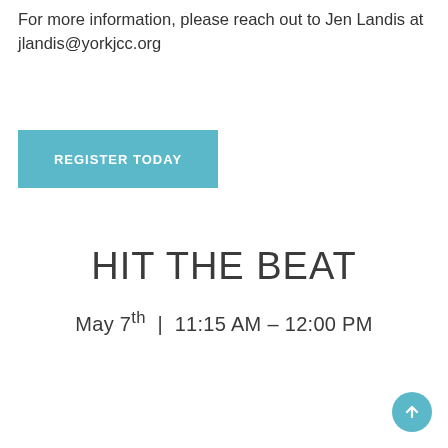For more information, please reach out to Jen Landis at jlandis@yorkjcc.org
REGISTER TODAY
HIT THE BEAT
May 7th | 11:15 AM – 12:00 PM